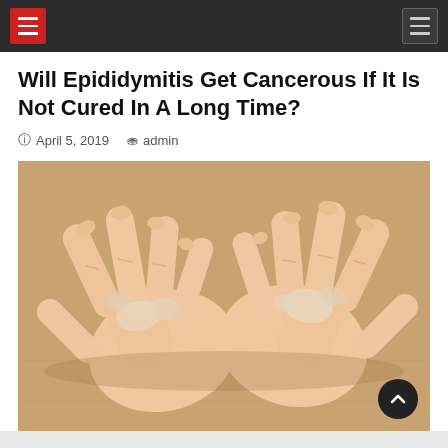Navigation bar with hamburger menus
Will Epididymitis Get Cancerous If It Is Not Cured In A Long Time?
April 5, 2019   admin
[Figure (photo): Two hands with white depigmentation patches (vitiligo) resting on a wooden table surface]